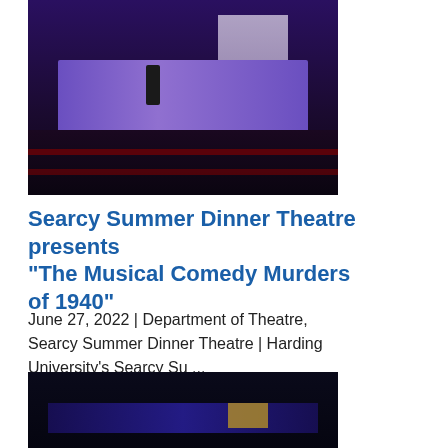[Figure (photo): Theatre performance scene with a person standing on stage and an audience seated in a darkened theatre with purple/blue stage lighting and a white staircase set piece]
Searcy Summer Dinner Theatre presents “The Musical Comedy Murders of 1940”
June 27, 2022 | Department of Theatre, Searcy Summer Dinner Theatre | Harding University’s Searcy Su ...
[Figure (photo): Dark theatre stage with blue lighting showing a stage set with windows and small illuminated screen visible]